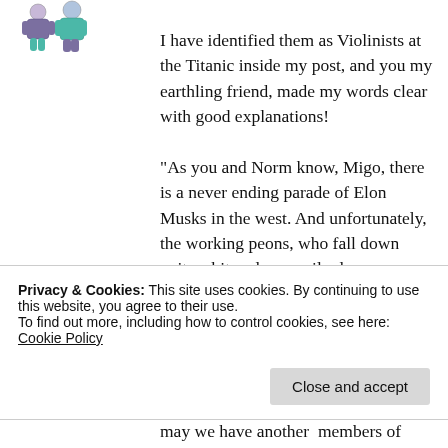[Figure (illustration): Cartoon illustration of two figures, appearing to be costumed characters, in teal and purple colors]
I have identified them as Violinists at the Titanic inside my post, and you my earthling friend, made my words clear with good explanations!
“As you and Norm know, Migo, there is a never ending parade of Elon Musks in the west. And unfortunately, the working peons, who fall down quite a bit and are easily done away with (fired/laid-
Privacy & Cookies: This site uses cookies. By continuing to use this website, you agree to their use.
To find out more, including how to control cookies, see here: Cookie Policy
Close and accept
may we have another  members of